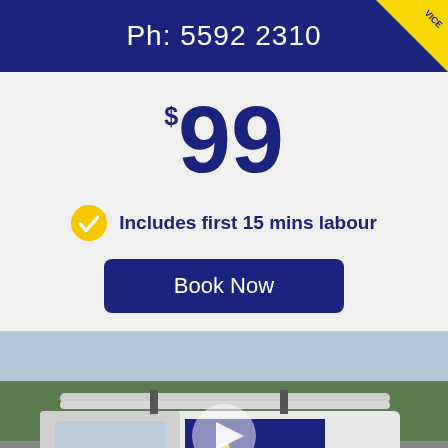Ph: 5592 2310
$99
Includes first 15 mins labour
Book Now
[Figure (photo): AMS Plumbing van with pipes on roof, showing company branding, phone number 3807 8800 Brisbane, drain cleaning services listed on the side. A video play button overlay is visible in the center.]